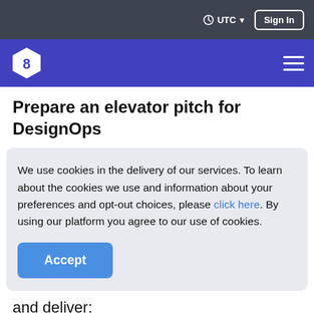UTC  Sign In
[Figure (logo): DesignOps hexagon logo in white on purple background, with hamburger menu icon on the right]
Prepare an elevator pitch for DesignOps
We use cookies in the delivery of our services. To learn about the cookies we use and information about your preferences and opt-out choices, please click here. By using our platform you agree to our use of cookies.
Accept
and deliver: